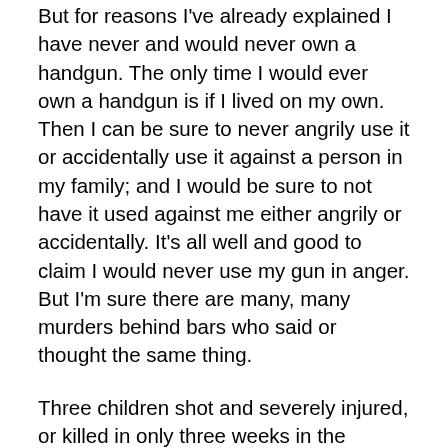But for reasons I've already explained I have never and would never own a handgun. The only time I would ever own a handgun is if I lived on my own. Then I can be sure to never angrily use it or accidentally use it against a person in my family; and I would be sure to not have it used against me either angrily or accidentally. It's all well and good to claim I would never use my gun in anger. But I'm sure there are many, many murders behind bars who said or thought the same thing.
Three children shot and severely injured, or killed in only three weeks in the Seattle area is too much. It's too painful. How much do you really need your gun. Does it really protect you? Or does it just excite you? Perhaps the more important question should be, does having it increase your chance of being shot or of someone you care about being shot, or does it increase your chance of